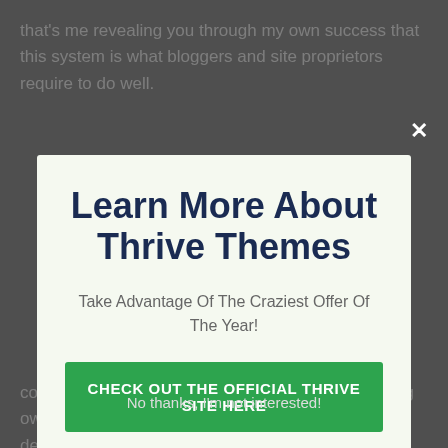that's me revealing you through my own success that this system is what bloggers and site proprietors require to do well.
Learn More About Thrive Themes
Take Advantage Of The Craziest Offer Of The Year!
CHECK OUT THE OFFICIAL THRIVE SITE HERE
No thanks, I'm not interested!
constructed not just to operate, however to give blog owners and also company owner digital marketing devices they require to drive conversions and also ultimately, profits for their blog site or